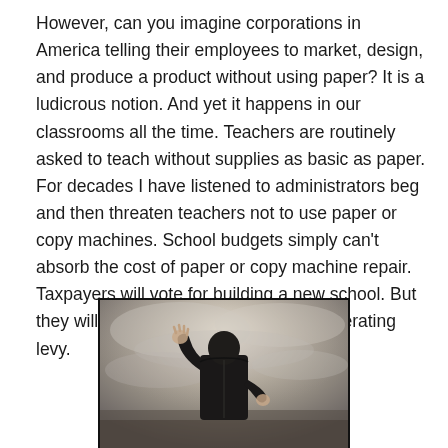However, can you imagine corporations in America telling their employees to market, design, and produce a product without using paper?  It is a ludicrous notion.  And yet it happens in our classrooms all the time.  Teachers are routinely asked to teach without supplies as basic as paper.  For decades I have listened to administrators beg and then threaten teachers not to use paper or copy machines.  School budgets simply can't absorb the cost of paper or copy machine repair.  Taxpayers will vote for building a new school.  But they will not vote money for a school operating levy.
[Figure (photo): A man in a dark suit seen from behind with one hand raised and the other behind his back, standing in a misty/cloudy background]